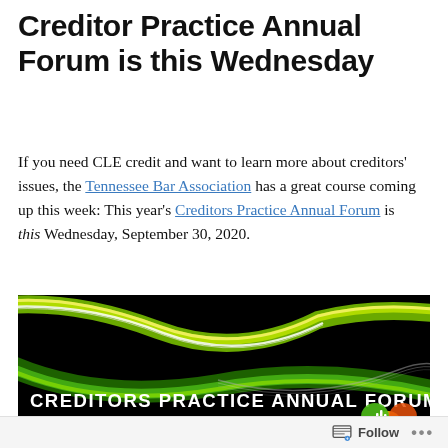Creditor Practice Annual Forum is this Wednesday
If you need CLE credit and want to learn more about creditors' issues, the Tennessee Bar Association has a great course coming up this week: This year's Creditors Practice Annual Forum is this Wednesday, September 30, 2020.
[Figure (illustration): Dark promotional banner for Creditors Practice Annual Forum showing abstract swirling green, yellow, and white light streaks on black background. Text reads 'CREDITORS PRACTICE ANNUAL FORUM'. Bottom left shows '2 General, 1 Dual', center bottom shows 'Exp Date: 09/30/20', and bottom right shows Tennessee Bar Association logo.]
Follow •••